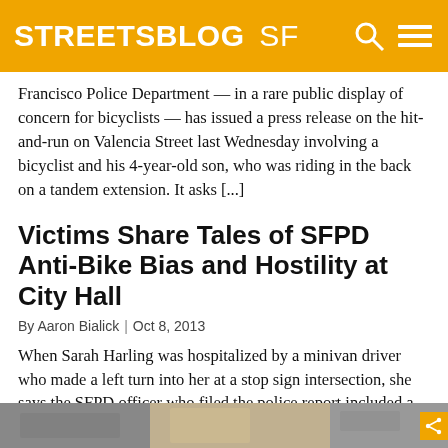STREETSBLOG SF
Francisco Police Department — in a rare public display of concern for bicyclists — has issued a press release on the hit-and-run on Valencia Street last Wednesday involving a bicyclist and his 4-year-old son, who was riding in the back on a tandem extension. It asks [...]
Victims Share Tales of SFPD Anti-Bike Bias and Hostility at City Hall
By Aaron Bialick | Oct 8, 2013
When Sarah Harling was hospitalized by a minivan driver who made a left turn into her at a stop sign intersection, she says the SFPD officer who filed the police report included a fabricated statement from her claiming that she "approached the stop sign without stopping." Harling said she tried to submit a response to [...]
[Figure (photo): A partial photo strip at the bottom of the page showing what appears to be an outdoor scene, with a small share icon on the right.]